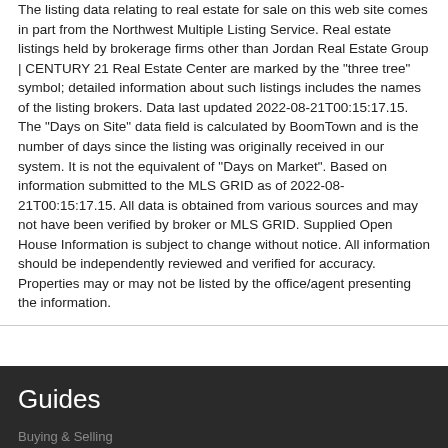The listing data relating to real estate for sale on this web site comes in part from the Northwest Multiple Listing Service. Real estate listings held by brokerage firms other than Jordan Real Estate Group | CENTURY 21 Real Estate Center are marked by the "three tree" symbol; detailed information about such listings includes the names of the listing brokers. Data last updated 2022-08-21T00:15:17.15. The "Days on Site" data field is calculated by BoomTown and is the number of days since the listing was originally received in our system. It is not the equivalent of "Days on Market". Based on information submitted to the MLS GRID as of 2022-08-21T00:15:17.15. All data is obtained from various sources and may not have been verified by broker or MLS GRID. Supplied Open House Information is subject to change without notice. All information should be independently reviewed and verified for accuracy. Properties may or may not be listed by the office/agent presenting the information.
Guides
Take a Tour
Ask A Question